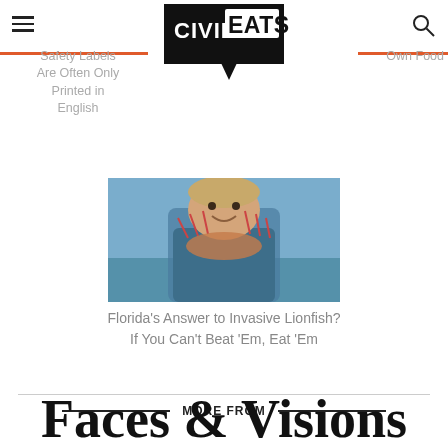Civil Eats
Safety Labels Are Often Only Printed in English
Own Food
[Figure (photo): Person holding a lionfish over water, smiling, wearing a blue patterned shirt]
Florida's Answer to Invasive Lionfish? If You Can't Beat 'Em, Eat 'Em
MORE FROM
Faces & Visions